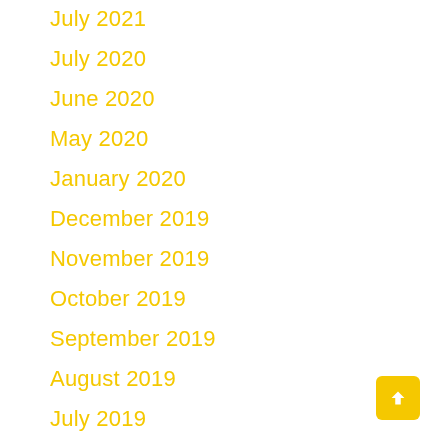July 2021
July 2020
June 2020
May 2020
January 2020
December 2019
November 2019
October 2019
September 2019
August 2019
July 2019
June 2019
May 2019
April 2019